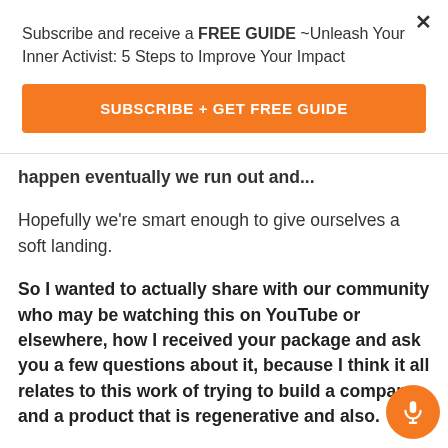Subscribe and receive a FREE GUIDE ~Unleash Your Inner Activist: 5 Steps to Improve Your Impact
SUBSCRIBE + GET FREE GUIDE
happen eventually we run out and...
Hopefully we're smart enough to give ourselves a soft landing.
So I wanted to actually share with our community who may be watching this on YouTube or elsewhere, how I received your package and ask you a few questions about it, because I think it all relates to this work of trying to build a company and a product that is regenerative and also.
Is really moving towards a more circular economy. Yeah. And so, I mean, all of these, all of this I think is important for our consumers to consider as they're out there shopping for products, as they're